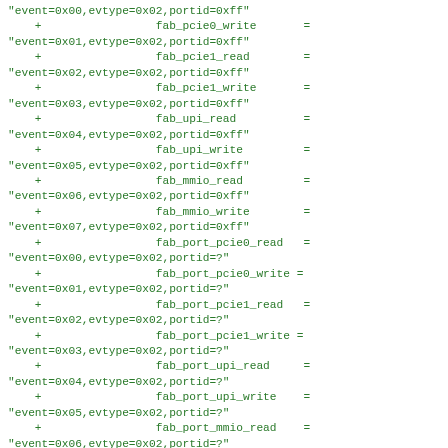"event=0x00,evtype=0x02,portid=0xff"
    +                 fab_pcie0_write       =
"event=0x01,evtype=0x02,portid=0xff"
    +                 fab_pcie1_read        =
"event=0x02,evtype=0x02,portid=0xff"
    +                 fab_pcie1_write       =
"event=0x03,evtype=0x02,portid=0xff"
    +                 fab_upi_read          =
"event=0x04,evtype=0x02,portid=0xff"
    +                 fab_upi_write         =
"event=0x05,evtype=0x02,portid=0xff"
    +                 fab_mmio_read         =
"event=0x06,evtype=0x02,portid=0xff"
    +                 fab_mmio_write        =
"event=0x07,evtype=0x02,portid=0xff"
    +                 fab_port_pcie0_read   =
"event=0x00,evtype=0x02,portid=?"
    +                 fab_port_pcie0_write =
"event=0x01,evtype=0x02,portid=?"
    +                 fab_port_pcie1_read   =
"event=0x02,evtype=0x02,portid=?"
    +                 fab_port_pcie1_write =
"event=0x03,evtype=0x02,portid=?"
    +                 fab_port_upi_read     =
"event=0x04,evtype=0x02,portid=?"
    +                 fab_port_upi_write    =
"event=0x05,evtype=0x02,portid=?"
    +                 fab_port_mmio_read    =
"event=0x06,evtype=0x02,portid=?"
    +                 fab_port_mmio_write   =